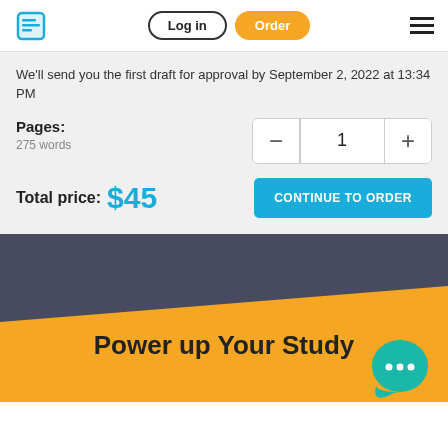Log in | Order
We'll send you the first draft for approval by September 2, 2022 at 13:34 PM
Pages: 275 words
Total price: $45
CONTINUE TO ORDER
Power up Your Study